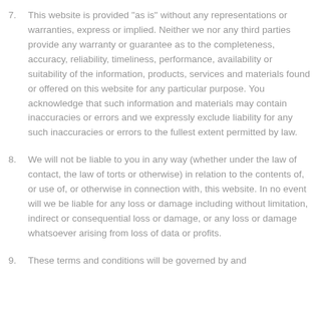7. This website is provided "as is" without any representations or warranties, express or implied. Neither we nor any third parties provide any warranty or guarantee as to the completeness, accuracy, reliability, timeliness, performance, availability or suitability of the information, products, services and materials found or offered on this website for any particular purpose. You acknowledge that such information and materials may contain inaccuracies or errors and we expressly exclude liability for any such inaccuracies or errors to the fullest extent permitted by law.
8. We will not be liable to you in any way (whether under the law of contact, the law of torts or otherwise) in relation to the contents of, or use of, or otherwise in connection with, this website. In no event will we be liable for any loss or damage including without limitation, indirect or consequential loss or damage, or any loss or damage whatsoever arising from loss of data or profits.
9. These terms and conditions will be governed by and